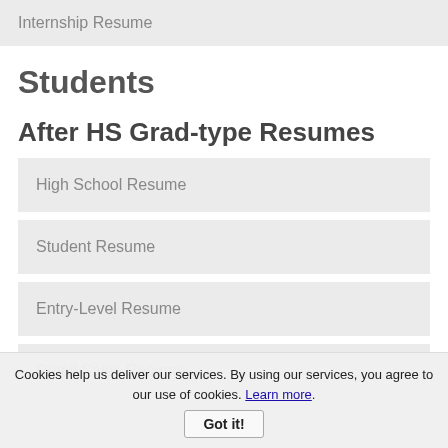Internship Resume
Students
After HS Grad-type Resumes
High School Resume
Student Resume
Entry-Level Resume
Retail Sales Resume
Cookies help us deliver our services. By using our services, you agree to our use of cookies. Learn more.
Got it!